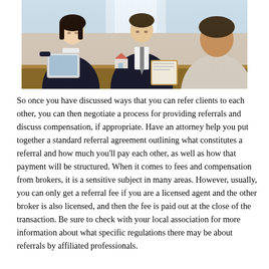[Figure (photo): Three people seated at a table in a professional meeting setting. On the left, a woman in a dark blazer holds a tablet. In the middle, a man in a suit and tie writes on a clipboard. On the right, a person in a light-colored shirt is seen from behind. A small house model sits on the table between them, suggesting a real estate consultation.]
So once you have discussed ways that you can refer clients to each other, you can then negotiate a process for providing referrals and discuss compensation, if appropriate. Have an attorney help you put together a standard referral agreement outlining what constitutes a referral and how much you'll pay each other, as well as how that payment will be structured. When it comes to fees and compensation from brokers, it is a sensitive subject in many areas. However, usually, you can only get a referral fee if you are a licensed agent and the other broker is also licensed, and then the fee is paid out at the close of the transaction. Be sure to check with your local association for more information about what specific regulations there may be about referrals by affiliated professionals.